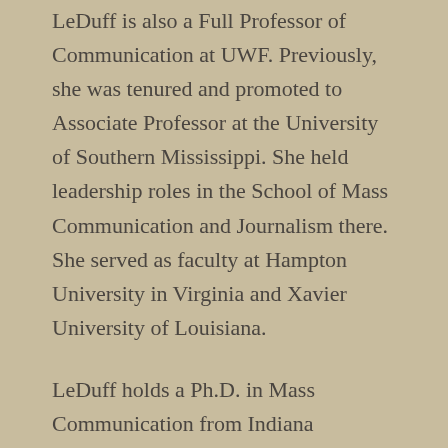LeDuff is also a Full Professor of Communication at UWF. Previously, she was tenured and promoted to Associate Professor at the University of Southern Mississippi. She held leadership roles in the School of Mass Communication and Journalism there. She served as faculty at Hampton University in Virginia and Xavier University of Louisiana.
LeDuff holds a Ph.D. in Mass Communication from Indiana University, an M.A. from the University of Maryland-College Park and a B.A. from Xavier University of Louisiana. She’s an alumnus of The Institute for Educational Management at Harvard University and earned the Fundraising Management Certificate from The Lilly School of Philanthropy at Indiana University- Purdue University at Indianapolis (IUPUI).